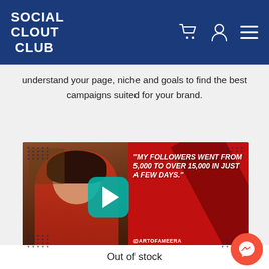SOCIAL CLOUT CLUB
understand your page, niche and goals to find the best campaigns suited for your brand.
[Figure (screenshot): Video thumbnail showing a woman in red with text quote: "MY FOLLOWERS WENT FROM 5,000 TO OVER 15,000 IN JUST A FEW DAYS." with handle @ARTOFAMEERA and a teal play button overlay]
Out of stock